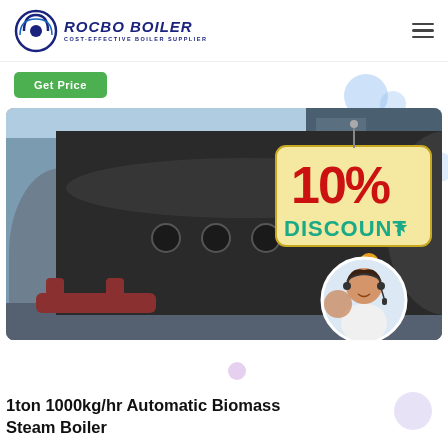[Figure (logo): Rocbo Boiler logo with circular icon and text 'ROCBO BOILER / COST-EFFECTIVE BOILER SUPPLIER']
Get Price
[Figure (photo): Large industrial biomass steam boiler in an outdoor facility, showing a large cylindrical black boiler drum, with a '10% DISCOUNT' promotional badge overlay and a circular inset of a female customer service representative wearing a headset.]
1ton 1000kg/hr Automatic Biomass Steam Boiler